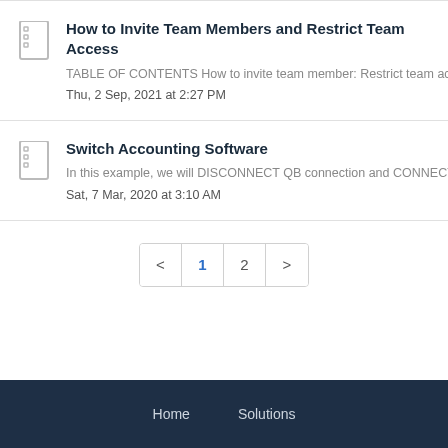How to Invite Team Members and Restrict Team Access
TABLE OF CONTENTS How to invite team member:  Restrict team ac. . .
Thu, 2 Sep, 2021 at 2:27 PM
Switch Accounting Software
In this example, we will DISCONNECT QB connection and CONNECT. . .
Sat, 7 Mar, 2020 at 3:10 AM
< 1 2 >
Home  Solutions